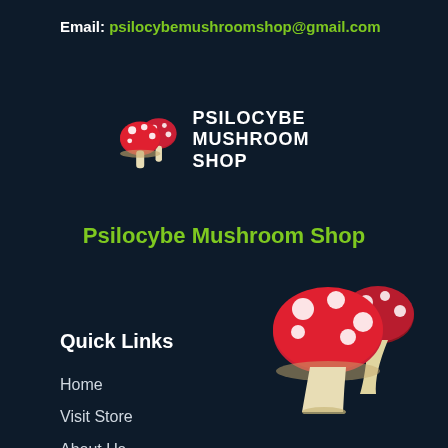Email: psilocybemushroomshop@gmail.com
[Figure (logo): Two red mushrooms with white spots and beige stems forming a logo icon, next to bold white uppercase text reading PSILOCYBE MUSHROOM SHOP]
Psilocybe Mushroom Shop
Quick Links
Home
Visit Store
About Us
Contact Us
[Figure (illustration): Two large red mushrooms with white polka dots and cream/beige stems, decorative illustration in bottom right corner]